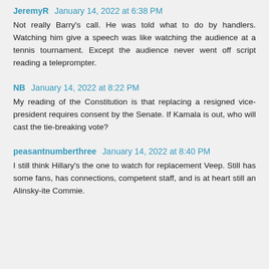JeremyR  January 14, 2022 at 6:38 PM
Not really Barry's call. He was told what to do by handlers. Watching him give a speech was like watching the audience at a tennis tournament. Except the audience never went off script reading a teleprompter.
NB  January 14, 2022 at 8:22 PM
My reading of the Constitution is that replacing a resigned vice-president requires consent by the Senate. If Kamala is out, who will cast the tie-breaking vote?
peasantnumberthree  January 14, 2022 at 8:40 PM
I still think Hillary's the one to watch for replacement Veep. Still has some fans, has connections, competent staff, and is at heart still an Alinsky-ite Commie.